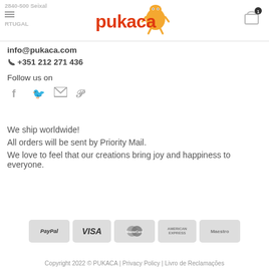2840-500 Seixal PORTUGAL — pukaca. logo — cart icon with 1
info@pukaca.com
+351 212 271 436
Follow us on
[Figure (infographic): Social media icons: Facebook, Twitter, Email, Pinterest]
We ship worldwide!
All orders will be sent by Priority Mail.
We love to feel that our creations bring joy and happiness to everyone.
[Figure (infographic): Payment method badges: PayPal, VISA, MasterCard, American Express, Maestro]
Copyright 2022 © PUKACA | Privacy Policy | Livro de Reclamações